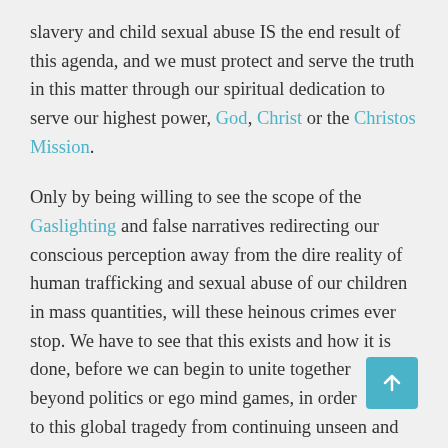slavery and child sexual abuse IS the end result of this agenda, and we must protect and serve the truth in this matter through our spiritual dedication to serve our highest power, God, Christ or the Christos Mission.
Only by being willing to see the scope of the Gaslighting and false narratives redirecting our conscious perception away from the dire reality of human trafficking and sexual abuse of our children in mass quantities, will these heinous crimes ever stop. We have to see that this exists and how it is done, before we can begin to unite together beyond politics or ego mind games, in order to this global tragedy from continuing unseen and unpunished.